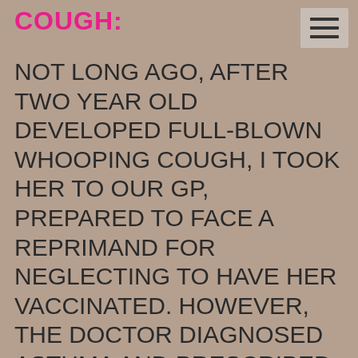COUGH:
NOT LONG AGO, AFTER TWO YEAR OLD DEVELOPED FULL-BLOWN WHOOPING COUGH, I TOOK HER TO OUR GP, PREPARED TO FACE A REPRIMAND FOR NEGLECTING TO HAVE HER VACCINATED. HOWEVER, THE DOCTOR DIAGNOSED ASTHMA AND PRESCRIBED VENTOLIN. I WAS SO UNCONVINCED BY THIS DIAGNOSIS THAT I CONSULTED ANOTHER GP WITHIN THE